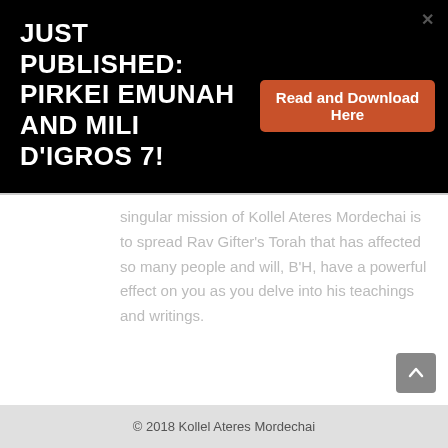JUST PUBLISHED: PIRKEI EMUNAH AND MILI D'IGROS 7!
Read and Download Here
singular mission of Kollel Ateres Mordechai is to spread Rav Gifter's Torah that has affected so many people and will, B'H, have a powerful effect on you as you delve into his teachings and writings.
© 2018 Kollel Ateres Mordechai